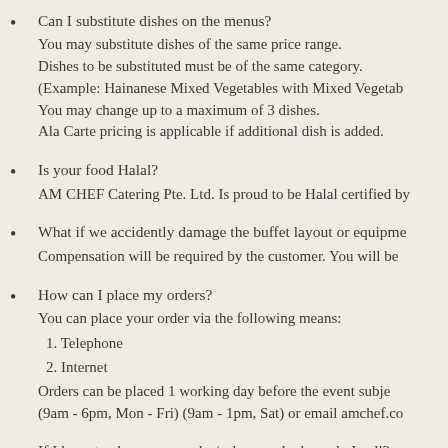Can I substitute dishes on the menus?
You may substitute dishes of the same price range. Dishes to be substituted must be of the same category. (Example: Hainanese Mixed Vegetables with Mixed Vegetab… You may change up to a maximum of 3 dishes. Ala Carte pricing is applicable if additional dish is added.
Is your food Halal?
AM CHEF Catering Pte. Ltd. Is proud to be Halal certified by…
What if we accidently damage the buffet layout or equipme…
Compensation will be required by the customer. You will be…
How can I place my orders?
You can place your order via the following means:
1. Telephone
2. Internet
Orders can be placed 1 working day before the event subje… (9am - 6pm, Mon - Fri) (9am - 1pm, Sat) or email amchef.co…
If I have to change my order/s, how and whom do I call?
You can call our Sales Consultants. Any changes after order…